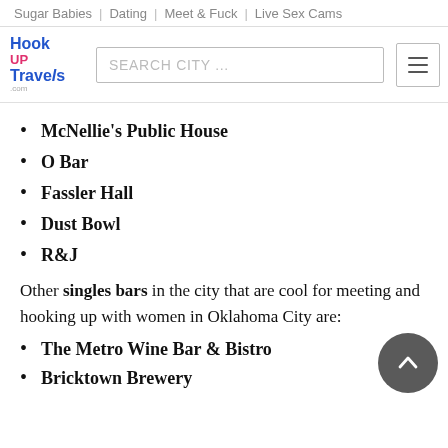Sugar Babies | Dating | Meet & Fuck | Live Sex Cams
[Figure (logo): HookUp Travels logo with search bar and hamburger menu]
McNellie's Public House
O Bar
Fassler Hall
Dust Bowl
R&J
Other singles bars in the city that are cool for meeting and hooking up with women in Oklahoma City are:
The Metro Wine Bar & Bistro
Bricktown Brewery